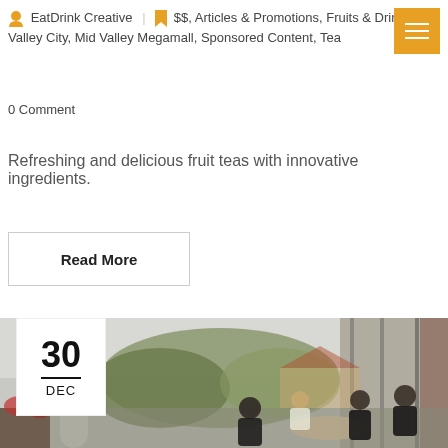EatDrink Creative | $$, Articles & Promotions, Fruits & Drinks, Mid Valley City, Mid Valley Megamall, Sponsored Content, Tea
0 Comment
Refreshing and delicious fruit teas with innovative ingredients.
Read More
[Figure (photo): Outdoor restaurant/cafe terrace with white architecture, arched columns, green trees in background, and a group of people sitting around a table dining. A white date box overlay shows '30 DEC' in the top-left corner of the photo.]